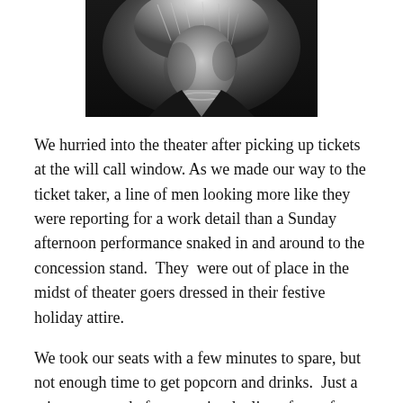[Figure (photo): Black and white close-up photograph of an elderly person with white/gray hair, wearing a necklace, looking downward]
We hurried into the theater after picking up tickets at the will call window. As we made our way to the ticket taker, a line of men looking more like they were reporting for a work detail than a Sunday afternoon performance snaked in and around to the concession stand.  They  were out of place in the midst of theater goers dressed in their festive holiday attire.
We took our seats with a few minutes to spare, but not enough time to get popcorn and drinks.  Just a minute or two before curtain, the line of men from the lobby, escorted by an usher, stopped at our row.  We stood to give way to